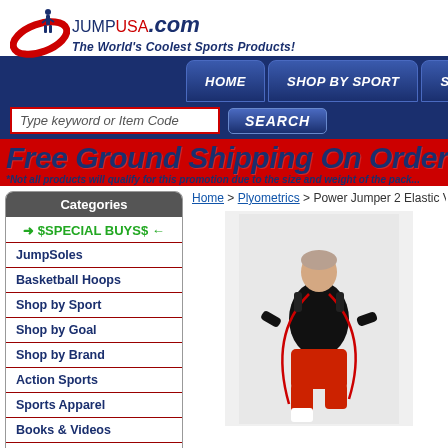[Figure (logo): JumpUSA.com logo with red swoosh and soldier silhouette, tagline: The World's Coolest Sports Products!]
HOME | SHOP BY SPORT | SHOP BY...
Type keyword or Item Code  SEARCH
Free Ground Shipping On Orders Ove...
*Not all products will qualify for this promotion due to the size and weight of the pack...
Categories
→ $SPECIAL BUYS$ ←
JumpSoles
Basketball Hoops
Shop by Sport
Shop by Goal
Shop by Brand
Action Sports
Sports Apparel
Books & Videos
Fitness Machines
Trampolines
Game Room
Home > Plyometrics > Power Jumper 2 Elastic V...
[Figure (photo): Man in black t-shirt and red shorts using a jump rope (Power Jumper 2 Elastic)]